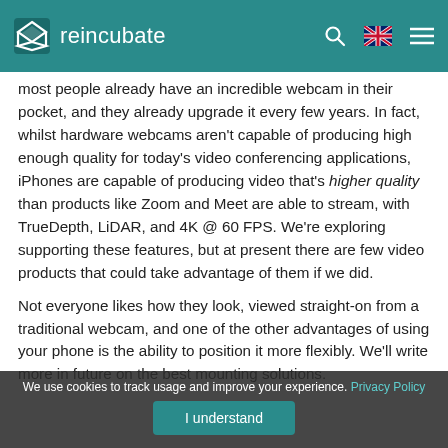reincubate
most people already have an incredible webcam in their pocket, and they already upgrade it every few years. In fact, whilst hardware webcams aren't capable of producing high enough quality for today's video conferencing applications, iPhones are capable of producing video that's higher quality than products like Zoom and Meet are able to stream, with TrueDepth, LiDAR, and 4K @ 60 FPS. We're exploring supporting these features, but at present there are few video products that could take advantage of them if we did.
Not everyone likes how they look, viewed straight-on from a traditional webcam, and one of the other advantages of using your phone is the ability to position it more flexibly. We'll write more in future on the best mounting solutions.
We use cookies to track usage and improve your experience. Privacy Policy  I understand